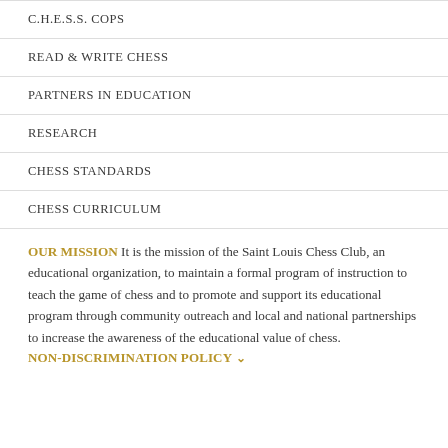C.H.E.S.S. COPS
READ & WRITE CHESS
PARTNERS IN EDUCATION
RESEARCH
CHESS STANDARDS
CHESS CURRICULUM
OUR MISSION It is the mission of the Saint Louis Chess Club, an educational organization, to maintain a formal program of instruction to teach the game of chess and to promote and support its educational program through community outreach and local and national partnerships to increase the awareness of the educational value of chess.
NON-DISCRIMINATION POLICY